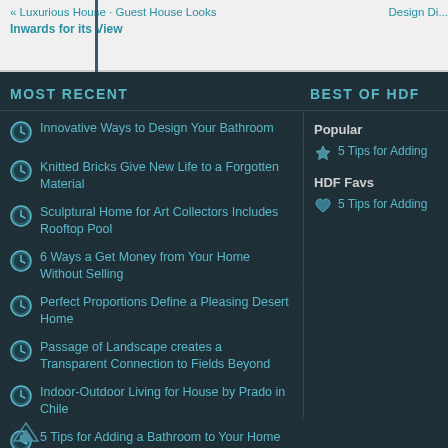« Luxurious House · Guest House Looks Inwards for its View | Design Di...
MOST RECENT
BEST OF HDF
Innovative Ways to Design Your Bathroom
Knitted Bricks Give New Life to a Forgotten Material
Sculptural Home for Art Collectors Includes Rooftop Pool
6 Ways a Get Money from Your Home Without Selling
Perfect Proportions Define a Pleasing Desert Home
Passage of Landscape creates a Transparent Connection to Fields Beyond
Indoor-Outdoor Living for House by Prado in Chile
5 Tips for Adding a Bathroom to Your Home
Popular
5 Tips for Adding
HDF Favs
5 Tips for Adding